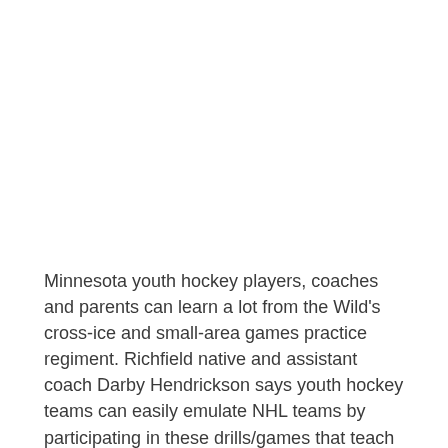Minnesota youth hockey players, coaches and parents can learn a lot from the Wild's cross-ice and small-area games practice regiment. Richfield native and assistant coach Darby Hendrickson says youth hockey teams can easily emulate NHL teams by participating in these drills/games that teach puck protection, stickhandling, quickness and hand-eye coordination.